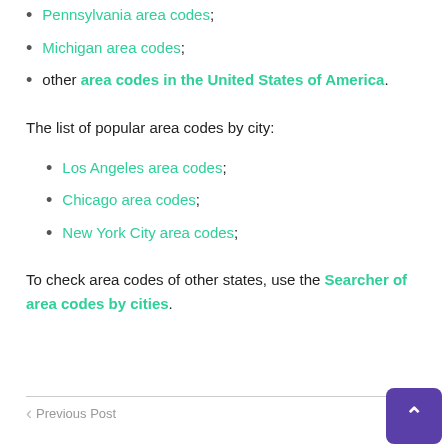Pennsylvania area codes;
Michigan area codes;
other area codes in the United States of America.
The list of popular area codes by city:
Los Angeles area codes;
Chicago area codes;
New York City area codes;
To check area codes of other states, use the Searcher of area codes by cities.
Previous Post   Next